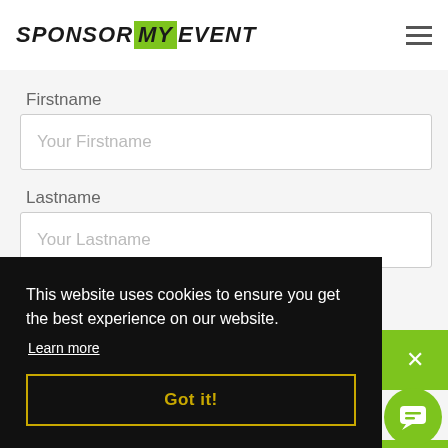SPONSOR MY EVENT
Firstname
Your Firstname
Lastname
Your Lastname
This website uses cookies to ensure you get the best experience on our website.
Learn more
Got it!